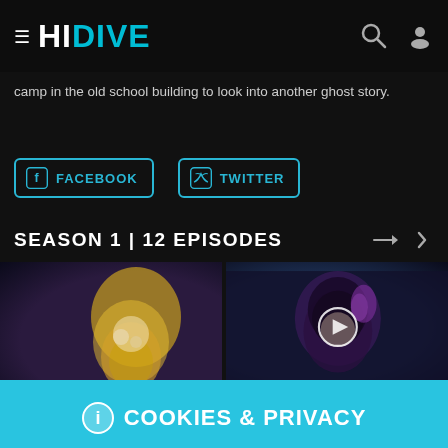HIDIVE
camp in the old school building to look into another ghost story.
FACEBOOK
TWITTER
SEASON 1 | 12 EPISODES
[Figure (screenshot): Anime episode thumbnails showing two characters]
COOKIES & PRIVACY

We use cookies to ensure you get the best experience possible when visiting HIDIVE. Continue browsing if you are happy with our Privacy Policy

ACCEPT